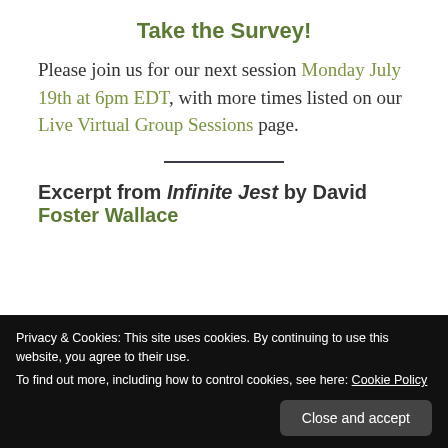Take the Survey!
Please join us for our next session Monday July 19th at 6pm EDT, with more times listed on our Live Virtual Group Sessions page.
Excerpt from Infinite Jest by David Foster Wallace
Privacy & Cookies: This site uses cookies. By continuing to use this website, you agree to their use. To find out more, including how to control cookies, see here: Cookie Policy Close and accept
adolescent growth spurt and have